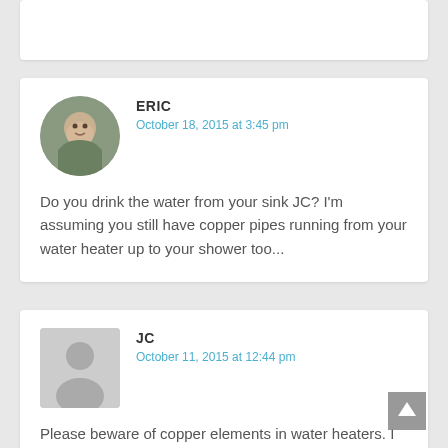ERIC
October 18, 2015 at 3:45 pm
Do you drink the water from your sink JC? I'm assuming you still have copper pipes running from your water heater up to your shower too...
JC
October 11, 2015 at 12:44 pm
Please beware of copper elements in water heaters. I had terrible health problems for years. After trying everything else first, I